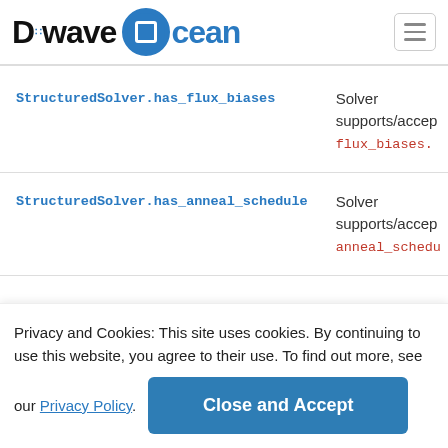[Figure (logo): D-Wave Ocean logo with hamburger menu icon]
| Method | Description |
| --- | --- |
| StructuredSolver.has_flux_biases | Solver supports/accep flux_biases. |
| StructuredSolver.has_anneal_schedule | Solver supports/accep anneal_schedu |
Privacy and Cookies: This site uses cookies. By continuing to use this website, you agree to their use. To find out more, see our Privacy Policy.